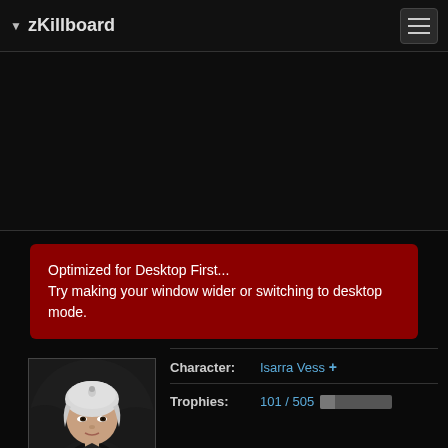zKillboard
[Figure (screenshot): Dark banner/ad area, mostly black]
Optimized for Desktop First...
Try making your window wider or switching to desktop mode.
[Figure (photo): Character portrait of a female character named Isarra Vess with white hair wearing dark armor]
Enlarge
| Field | Value |
| --- | --- |
| Character: | Isarra Vess + |
| Trophies: | 101 / 505 |